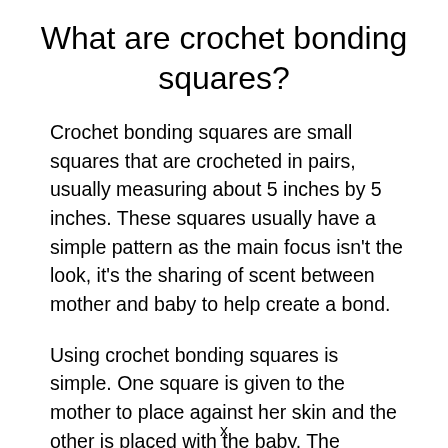What are crochet bonding squares?
Crochet bonding squares are small squares that are crocheted in pairs, usually measuring about 5 inches by 5 inches. These squares usually have a simple pattern as the main focus isn't the look, it's the sharing of scent between mother and baby to help create a bond.
Using crochet bonding squares is simple. One square is given to the mother to place against her skin and the other is placed with the baby. The squares are then swapped after a bit of time so that the mother has the baby's scent and the baby
x